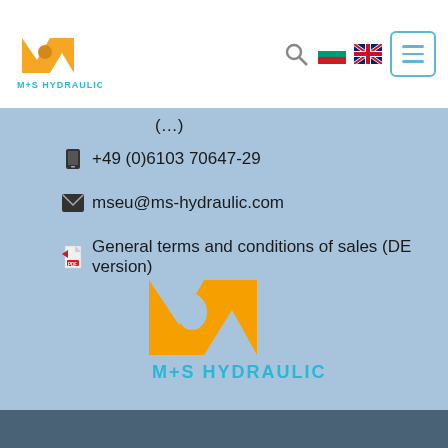[Figure (logo): M+S Hydraulic logo - orange M shape with M+S HYDRAULIC text in header navigation bar]
(...)
+49 (0)6103 70647-29
mseu@ms-hydraulic.com
General terms and conditions of sales (DE version)
[Figure (logo): Large M+S Hydraulic logo centered on light blue background - orange M icon above cyan M+S HYDRAULIC text]